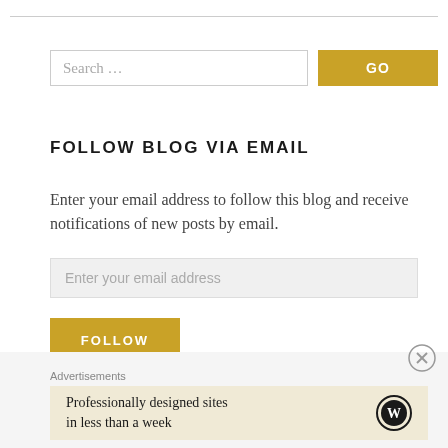Search ...
FOLLOW BLOG VIA EMAIL
Enter your email address to follow this blog and receive notifications of new posts by email.
Enter your email address
FOLLOW
Advertisements
Professionally designed sites in less than a week